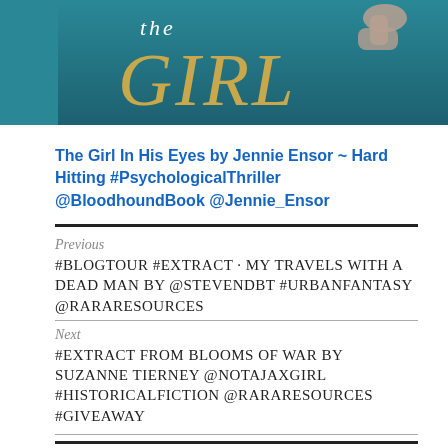[Figure (photo): Book cover image showing 'the GIRL' text in teal/gold colors with a hand in the upper right]
The Girl In His Eyes by Jennie Ensor ~ Hard Hitting #PsychologicalThriller @BloodhoundBook @Jennie_Ensor
Previous
#BLOGTOUR #EXTRACT - MY TRAVELS WITH A DEAD MAN BY @STEVENDBT #URBANFANTASY @RARARESOURCES
Next
#EXTRACT FROM BLOOMS OF WAR BY SUZANNE TIERNEY @NOTAJAXGIRL #HISTORICALFICTION @RARARESOURCES #GIVEAWAY
2 THOUGHTS ON "#GUESTPOST BY #AUTHOR